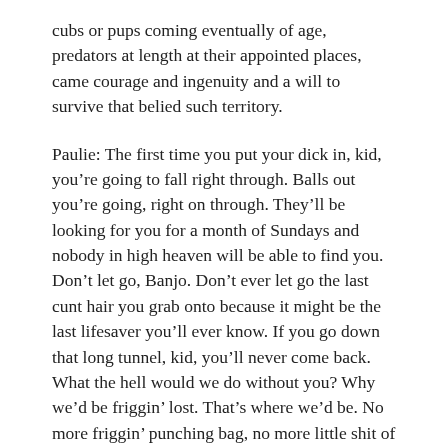cubs or pups coming eventually of age, predators at length at their appointed places, came courage and ingenuity and a will to survive that belied such territory.
Paulie: The first time you put your dick in, kid, you're going to fall right through. Balls out you're going, right on through. They'll be looking for you for a month of Sundays and nobody in high heaven will be able to find you. Don't let go, Banjo. Don't ever let go the last cunt hair you grab onto because it might be the last lifesaver you'll ever know. If you go down that long tunnel, kid, you'll never come back. What the hell would we do without you? Why we'd be friggin' lost. That's where we'd be. No more friggin' punching bag, no more little shit of shits to make our days. You can count on that. We'd be lost without you. Can you imagine it, the runt adrift on a cunt hair and never seen again!
A rock the size of a baseball suddenly off Paulie's head. A